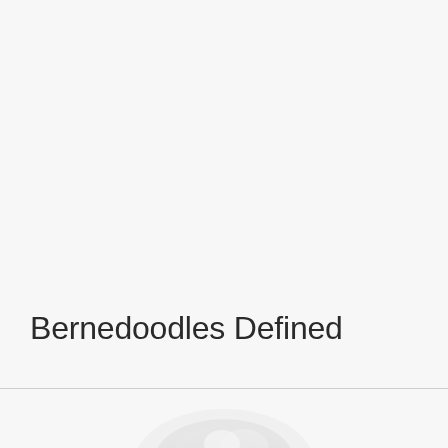Bernedoodles Defined
[Figure (photo): Partial photo of a Bernedoodle dog, showing the top of its head with fluffy fur, cropped at bottom of page]